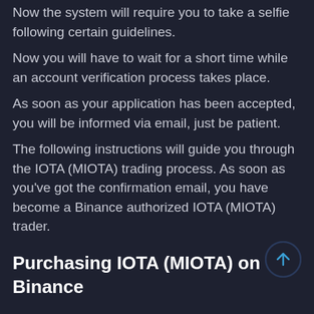Now the system will require you to take a selfie following certain guidelines.
Now you will have to wait for a short time while an account verification process takes place.
As soon as your application has been accepted, you will be informed via email, just be patient.
The following instructions will guide you through the IOTA (MIOTA) trading process. As soon as you've got the confirmation email, you have become a Binance authorized IOTA (MIOTA) trader.
Purchasing IOTA (MIOTA) on Binance
OK, account verified means you can begin buying IOTA (MIOTA) immediately.